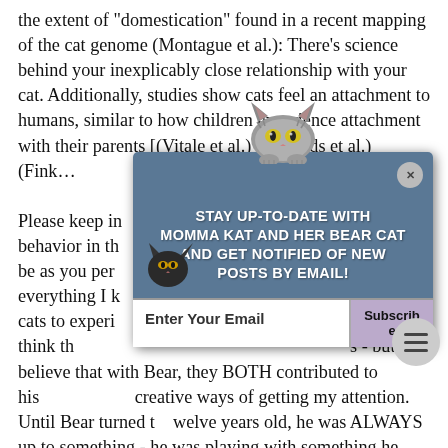the extent of "domestication" found in a recent mapping of the cat genome (Montague et al.): There's science behind your inexplicably close relationship with your cat. Additionally, studies show cats feel an attachment to humans, similar to how children experience attachment with their parents [(Vitale et al.) (Edwards et al.) (Fink...
Please keep in mind your cat's behavior in the ... s might not be as you perc... aught me everything I k... apability of cats to experi... ans. You might think those are two completely different topics - but I believe that with Bear, they BOTH contributed to his creative ways of getting my attention. Until Bear turned twelve years old, he was ALWAYS up to something - he was playing with something he shouldn't be, bugging me for attention or destroying something. Within days of adopting him, I learned
[Figure (illustration): Popup notification widget with a cartoon cat illustration at top and bottom-left. The popup has a blue-gray background with white uppercase bold text: 'STAY UP-TO-DATE WITH MOMMA KAT AND HER BEAR CAT AND GET NOTIFIED OF NEW POSTS BY EMAIL!' with an email input box and Subscribe button below. A close X button appears top-right.]